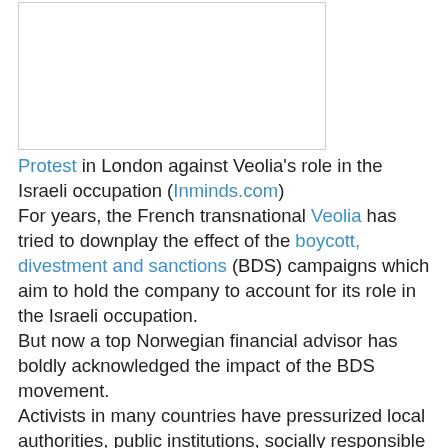[Figure (photo): Photograph of a protest in London against Veolia's role in the Israeli occupation]
Protest in London against Veolia's role in the Israeli occupation (Inminds.com)
For years, the French transnational Veolia has tried to downplay the effect of the boycott, divestment and sanctions (BDS) campaigns which aim to hold the company to account for its role in the Israeli occupation. But now a top Norwegian financial advisor has boldly acknowledged the impact of the BDS movement. Activists in many countries have pressurized local authorities, public institutions, socially responsible investors, and pension funds to do no business with Veolia as long as it is complicit in Israel's violations of international law. In a recent presentation [PDF], Hege Sjo said that “disasters are expensive” for businesses, mentioning Veolia as an example of a company that has experienced “reputational